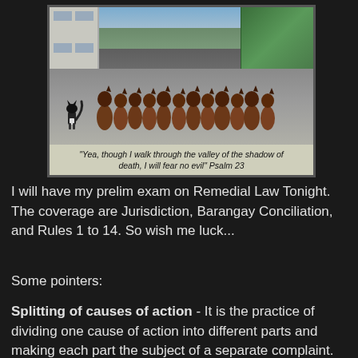[Figure (photo): A small cat boldly walking toward a long row of German Shepherd dogs sitting in a line, with a building on the left and trees on the right. Caption reads: "Yea, though I walk through the valley of the shadow of death, I will fear no evil" Psalm 23]
I will have my prelim exam on Remedial Law Tonight. The coverage are Jurisdiction, Barangay Conciliation, and Rules 1 to 14. So wish me luck...
Some pointers:
Splitting of causes of action - It is the practice of dividing one cause of action into different parts and making each part the subject of a separate complaint. The filing of the first